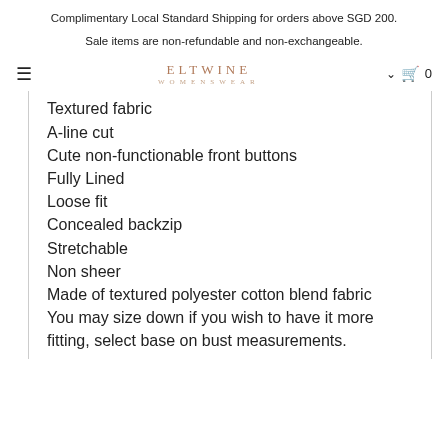Complimentary Local Standard Shipping for orders above SGD 200.
Sale items are non-refundable and non-exchangeable.
ELTWINE WOMENSWEAR
Textured fabric
A-line cut
Cute non-functionable front buttons
Fully Lined
Loose fit
Concealed backzip
Stretchable
Non sheer
Made of textured polyester cotton blend fabric
You may size down if you wish to have it more fitting, select base on bust measurements.